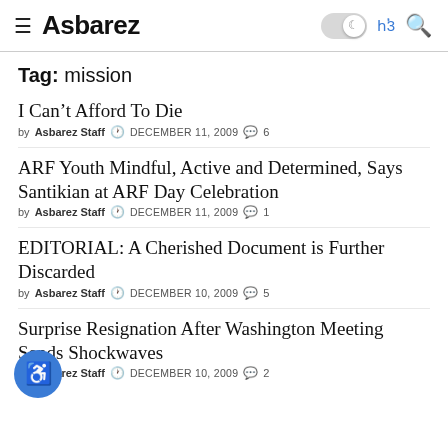≡ Asbarez [toggle] ՀՅ3 🔍
Tag: mission
I Can't Afford To Die
by Asbarez Staff  DECEMBER 11, 2009  6
ARF Youth Mindful, Active and Determined, Says Santikian at ARF Day Celebration
by Asbarez Staff  DECEMBER 11, 2009  1
EDITORIAL: A Cherished Document is Further Discarded
by Asbarez Staff  DECEMBER 10, 2009  5
Surprise Resignation After Washington Meeting Sends Shockwaves
by Asbarez Staff  DECEMBER 10, 2009  2